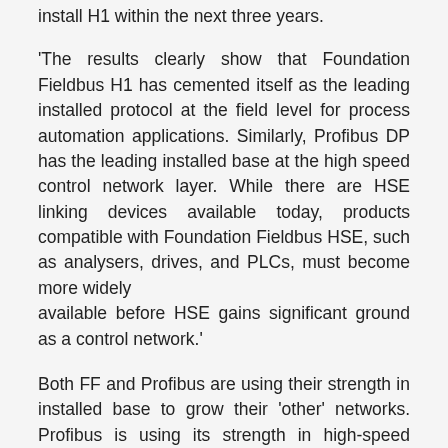install H1 within the next three years.
'The results clearly show that Foundation Fieldbus H1 has cemented itself as the leading installed protocol at the field level for process automation applications. Similarly, Profibus DP has the leading installed base at the high speed control network layer. While there are HSE linking devices available today, products compatible with Foundation Fieldbus HSE, such as analysers, drives, and PLCs, must become more widely available before HSE gains significant ground as a control network.'
Both FF and Profibus are using their strength in installed base to grow their 'other' networks. Profibus is using its strength in high-speed Profibus DP to gain installed base in its low-speed Profibus PA devices while FF is doing just the reverse: it will build on its strength in low-speed H1 to increase the installed base of High Speed Ethernet networks.
Mission critical
According to the two ARC surveys conducted two years apart, the user confidence in using fieldbus systems for 'mission